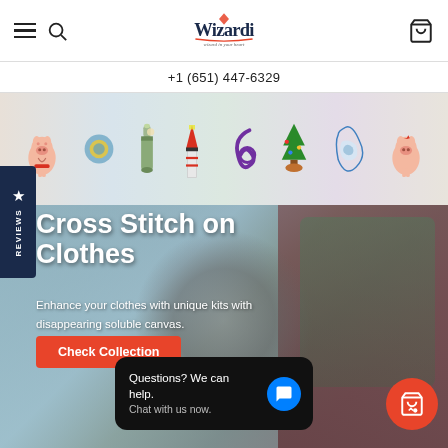Wizardi — wizard in your heart
+1 (651) 447-6329
[Figure (photo): Product strip showing cartoon cross-stitch designs: pigs, lighthouse, Christmas tree, snowflake/decorative elements on white background]
Cross Stitch on Clothes
Enhance your clothes with unique kits with disappearing soluble canvas.
[Figure (photo): Hero banner photo showing cross-stitch embroidery on clothes — raccoon design on light blue fabric, floral/botanical design on dark reddish-brown fabric]
Check Collection
Questions? We can help. Chat with us now.